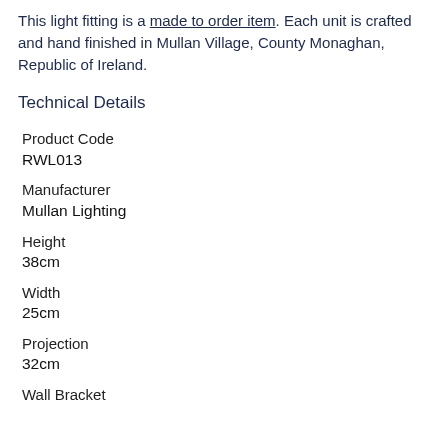This light fitting is a made to order item. Each unit is crafted and hand finished in Mullan Village, County Monaghan, Republic of Ireland.
Technical Details
| Product Code |  |
| RWL013 |  |
| Manufacturer |  |
| Mullan Lighting |  |
| Height |  |
| 38cm |  |
| Width |  |
| 25cm |  |
| Projection |  |
| 32cm |  |
| Wall Bracket |  |